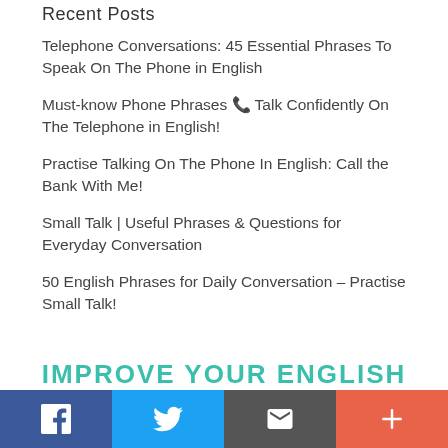Recent Posts
Telephone Conversations: 45 Essential Phrases To Speak On The Phone in English
Must-know Phone Phrases 📞 Talk Confidently On The Telephone in English!
Practise Talking On The Phone In English: Call the Bank With Me!
Small Talk | Useful Phrases & Questions for Everyday Conversation
50 English Phrases for Daily Conversation – Practise Small Talk!
IMPROVE YOUR ENGLISH
f  [Twitter]  [Email]  +